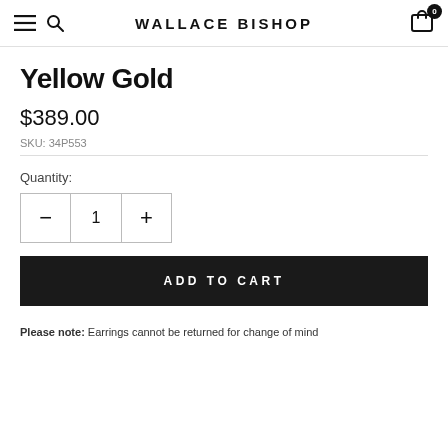WALLACE BISHOP
Yellow Gold
$389.00
SKU: 34P553
Quantity:
ADD TO CART
Please note: Earrings cannot be returned for change of mind